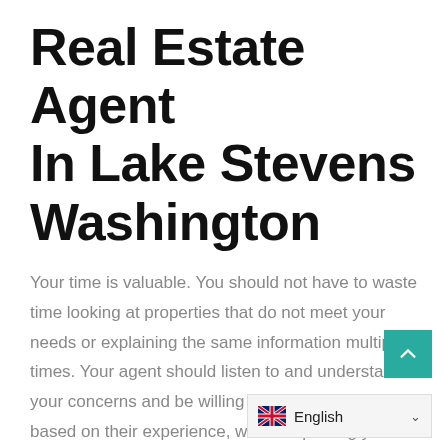Real Estate Agent In Lake Stevens Washington
Your time is valuable. You should not have to waste time looking at properties that do not meet your needs or explaining the same information multiple times. Your agent should listen to and understand your concerns and be willing to offer suggestions based on their experience, while respecting your desires as client.